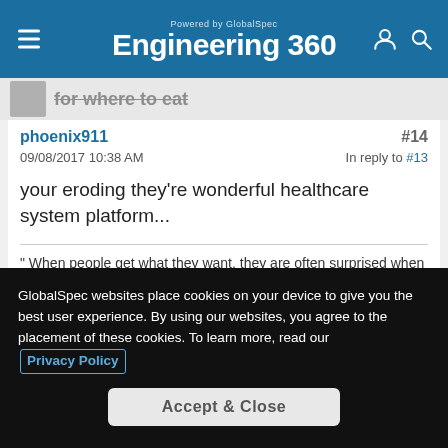Engineering 360 — Powered by GlobalSpec
phoenix911
09/08/2017 10:38 AM
#14
In reply to #13
your eroding they're wonderful healthcare system platform...
" When people get what they want, they are often surprised when they get what they deserve " - James Wood
Register to Reply
GlobalSpec websites place cookies on your device to give you the best user experience. By using our websites, you agree to the placement of these cookies. To learn more, read our Privacy Policy
Accept & Close